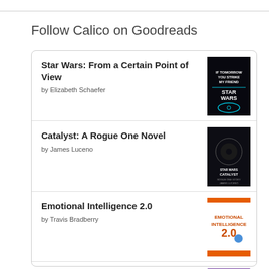Follow Calico on Goodreads
Star Wars: From a Certain Point of View by Elizabeth Schaefer
Catalyst: A Rogue One Novel by James Luceno
Emotional Intelligence 2.0 by Travis Bradberry
The Invisible Orientation: An Introduction to Asexuality by Julie Sondra Decker
The Dark Forest